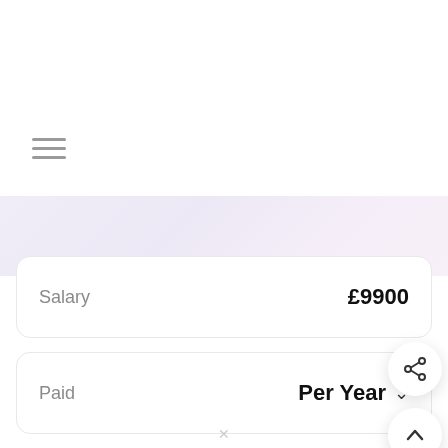[Figure (other): Hamburger menu icon (three horizontal lines) in grey]
Salary                              £9900
Paid                                Per Year ∨
Tax year                            2021-2022